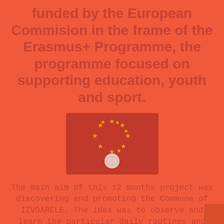funded by the European Commision in the frame of the Erasmus+ Programme, the programme focused on supporting education, youth and sport.
[Figure (illustration): European Union flag rendered in red tones — red background with golden/orange stars in a circle and a pale circular coin/globe element at the bottom center]
The main aim of this 12 months project was discovering and promoting the Commune of IZVOARELE. The idea was to observe and learn the particular daily routines and the life of the commune as well as get to know geography and natural resources, in order to promote it with a respectful tourism and to